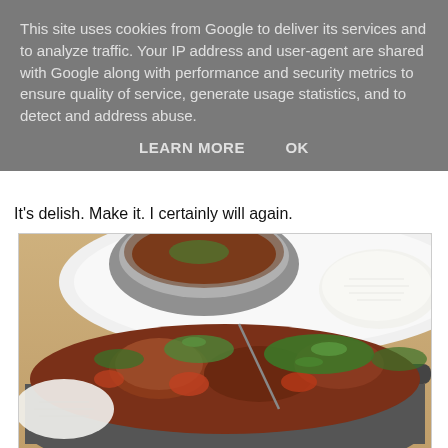This site uses cookies from Google to deliver its services and to analyze traffic. Your IP address and user-agent are shared with Google along with performance and security metrics to ensure quality of service, generate usage statistics, and to detect and address abuse.
LEARN MORE  OK
It's delish. Make it. I certainly will again.
[Figure (photo): A bowl of Indian curry (meat curry garnished with fresh coriander/cilantro) in a metal balti dish, served alongside white rice on a white plate. A second metal bowl with food is visible in the background on the same plate.]